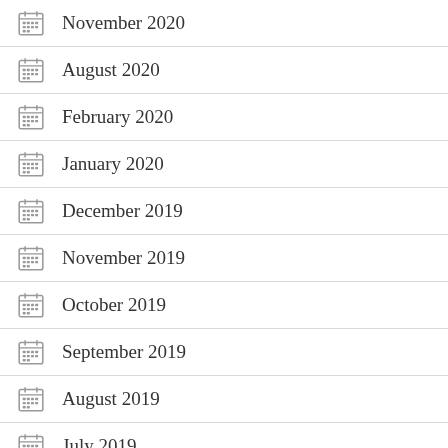November 2020
August 2020
February 2020
January 2020
December 2019
November 2019
October 2019
September 2019
August 2019
July 2019
June 2019